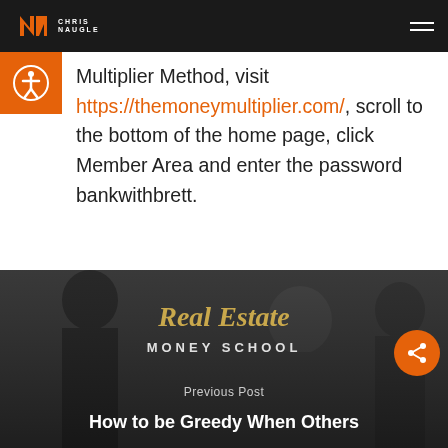Chris Naugle
Multiplier Method, visit https://themoneymultiplier.com/, scroll to the bottom of the home page, click Member Area and enter the password bankwithbrett.
[Figure (photo): Bottom section showing Real Estate Money School logo over a dark background with people, with Previous Post label and title 'How to be Greedy When Others']